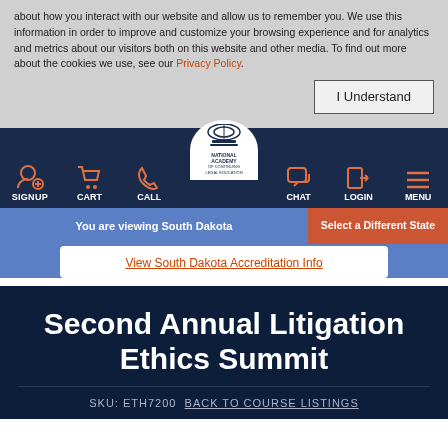about how you interact with our website and allow us to remember you. We use this information in order to improve and customize your browsing experience and for analytics and metrics about our visitors both on this website and other media. To find out more about the cookies we use, see our Privacy Policy.
I Understand
[Figure (screenshot): Navigation bar with icons for SIGNUP, CART, CALL, National Academy of Continuing Legal Education logo, CHAT, LOGIN, MENU on dark navy background]
You are viewing South Dakota
Select a Different State
View South Dakota Accreditation Info
Second Annual Litigation Ethics Summit
SKU: ETH7200 BACK TO COURSE LISTINGS